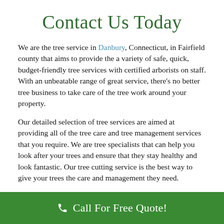Contact Us Today
We are the tree service in Danbury, Connecticut, in Fairfield county that aims to provide the a variety of safe, quick, budget-friendly tree services with certified arborists on staff. With an unbeatable range of great service, there's no better tree business to take care of the tree work around your property.
Our detailed selection of tree services are aimed at providing all of the tree care and tree management services that you require. We are tree specialists that can help you look after your trees and ensure that they stay healthy and look fantastic. Our tree cutting service is the best way to give your trees the care and management they need.
We are the tree service in Danbury and Fairfield County, CT that supplies economical, quick, and safe tree services. We also
Call For Free Quote!